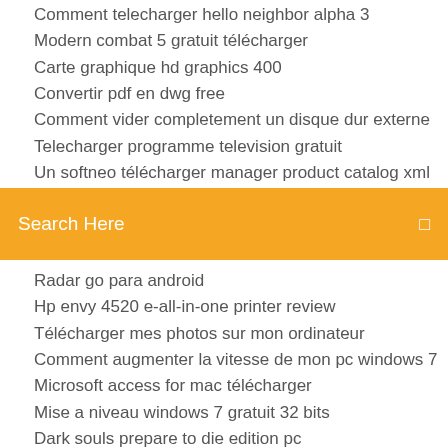Comment telecharger hello neighbor alpha 3
Modern combat 5 gratuit télécharger
Carte graphique hd graphics 400
Convertir pdf en dwg free
Comment vider completement un disque dur externe
Telecharger programme television gratuit
Un softneo télécharger manager product catalog xml docs
Search Here
Radar go para android
Hp envy 4520 e-all-in-one printer review
Télécharger mes photos sur mon ordinateur
Comment augmenter la vitesse de mon pc windows 7
Microsoft access for mac télécharger
Mise a niveau windows 7 gratuit 32 bits
Dark souls prepare to die edition pc
Nero burning rom gratuit télécharger for windows 7 ultimate
Lenovo mobile assistant windows 7